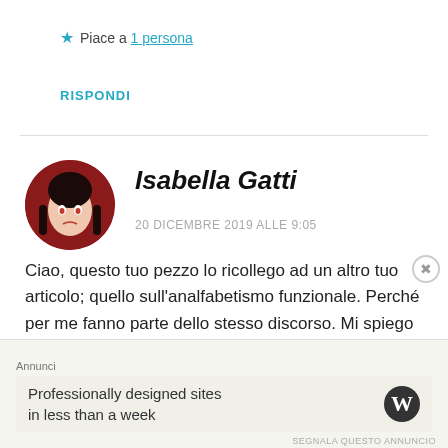★ Piace a 1 persona
RISPONDI
Isabella Gatti
20 DICEMBRE 2019 ALLE 9:05
Ciao, questo tuo pezzo lo ricollego ad un altro tuo articolo; quello sull'analfabetismo funzionale. Perché per me fanno parte dello stesso discorso. Mi spiego meglio, per me questo tipo di persone che, facendo un
Annunci
Professionally designed sites in less than a week